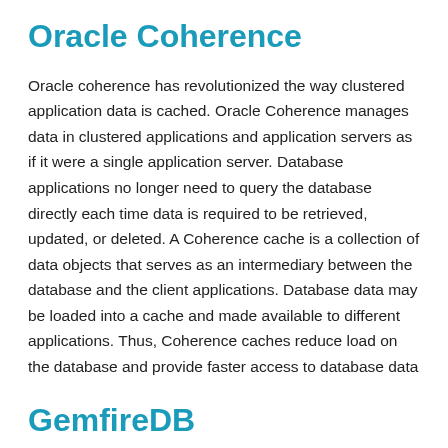Oracle Coherence
Oracle coherence has revolutionized the way clustered application data is cached. Oracle Coherence manages data in clustered applications and application servers as if it were a single application server. Database applications no longer need to query the database directly each time data is required to be retrieved, updated, or deleted. A Coherence cache is a collection of data objects that serves as an intermediary between the database and the client applications. Database data may be loaded into a cache and made available to different applications. Thus, Coherence caches reduce load on the database and provide faster access to database data
GemfireDB